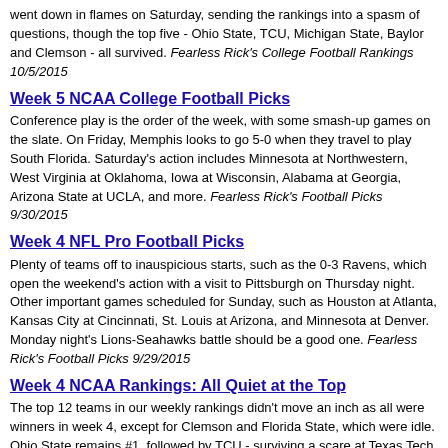went down in flames on Saturday, sending the rankings into a spasm of questions, though the top five - Ohio State, TCU, Michigan State, Baylor and Clemson - all survived. Fearless Rick's College Football Rankings 10/5/2015
Week 5 NCAA College Football Picks
Conference play is the order of the week, with some smash-up games on the slate. On Friday, Memphis looks to go 5-0 when they travel to play South Florida. Saturday's action includes Minnesota at Northwestern, West Virginia at Oklahoma, Iowa at Wisconsin, Alabama at Georgia, Arizona State at UCLA, and more. Fearless Rick's Football Picks 9/30/2015
Week 4 NFL Pro Football Picks
Plenty of teams off to inauspicious starts, such as the 0-3 Ravens, which open the weekend's action with a visit to Pittsburgh on Thursday night. Other important games scheduled for Sunday, such as Houston at Atlanta, Kansas City at Cincinnati, St. Louis at Arizona, and Minnesota at Denver. Monday night's Lions-Seahawks battle should be a good one. Fearless Rick's Football Picks 9/29/2015
Week 4 NCAA Rankings: All Quiet at the Top
The top 12 teams in our weekly rankings didn't move an inch as all were winners in week 4, except for Clemson and Florida State, which were idle. Ohio State remains #1, followed by TCU - surviving a scare at Texas Tech - Michigan State, Baylor and #5 Clemson, which meets #9 Notre Dame in week five. Fearless Rick's College Football Rankings 9/28/2015
NCAA Week 4 College Football Picks
Autumn has arrived, and with the changing colors in the scenery, conference play comes to the college gridiron. Most...